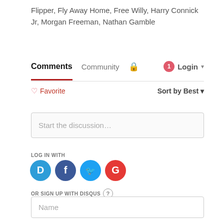Flipper, Fly Away Home, Free Willy, Harry Connick Jr, Morgan Freeman, Nathan Gamble
Comments
Community
Login
Favorite
Sort by Best
Start the discussion…
LOG IN WITH
[Figure (logo): Social login icons: Disqus (blue), Facebook (dark blue), Twitter (light blue), Google (red)]
OR SIGN UP WITH DISQUS
Name